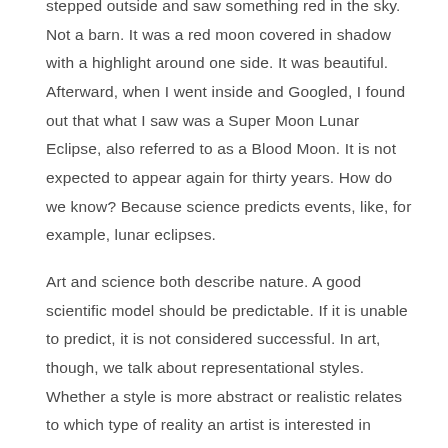stepped outside and saw something red in the sky. Not a barn. It was a red moon covered in shadow with a highlight around one side. It was beautiful. Afterward, when I went inside and Googled, I found out that what I saw was a Super Moon Lunar Eclipse, also referred to as a Blood Moon. It is not expected to appear again for thirty years. How do we know? Because science predicts events, like, for example, lunar eclipses.
Art and science both describe nature. A good scientific model should be predictable. If it is unable to predict, it is not considered successful. In art, though, we talk about representational styles. Whether a style is more abstract or realistic relates to which type of reality an artist is interested in describing: reality seen, felt, imagined, or some other process we cannot yet explain. Artists like